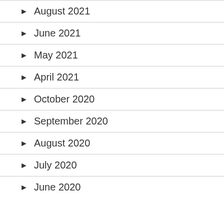August 2021
June 2021
May 2021
April 2021
October 2020
September 2020
August 2020
July 2020
June 2020